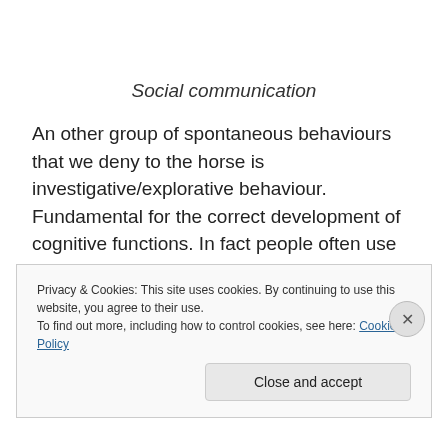Social communication
An other group of spontaneous behaviours that we deny to the horse is investigative/explorative behaviour. Fundamental for the correct development of cognitive functions. In fact people often use techniques, methods and tools that deprive the horse of the opportunity to explore his reference context, other horses, the human
Privacy & Cookies: This site uses cookies. By continuing to use this website, you agree to their use.
To find out more, including how to control cookies, see here: Cookie Policy
Close and accept